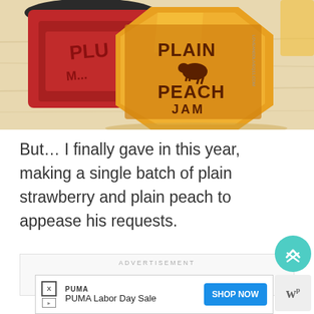[Figure (photo): Photo of jam jars on a wooden surface — a dark red strawberry jam jar partially visible on the left with a black lid, and a hexagonal golden-yellow Plain Peach Jam jar prominently in the center-right with a cow logo on its label. The background is a pale wood surface.]
But... I finally gave in this year, making a single batch of plain strawberry and plain peach to appease his requests.
ADVERTISEMENT
[Figure (screenshot): PUMA advertisement banner with PUMA brand label, text 'PUMA Labor Day Sale', and a blue 'SHOP NOW' button on the right. Small X close icon and ad choice icons on the bottom left.]